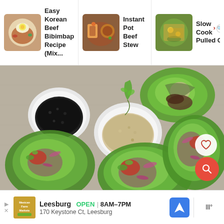[Figure (screenshot): Top navigation bar showing three recipe cards: 1) Easy Korean Beef Bibimbap Recipe (Mix... with a bowl image, 2) Instant Pot Beef Stew with a stew bowl image, 3) Slow Cooker Pineapple Pulled Chicken (partially visible) with a search icon overlay]
[Figure (photo): Overhead food photograph showing lettuce wrap cups filled with sliced beef, pickled red onions, red chili sauce, and microgreens, with two small bowls of black sesame seeds and sesame seeds on a linen background. A heart/favorite button and a red search button are overlaid on the image.]
[Figure (screenshot): Bottom advertisement banner for Mexican Farm Markets in Leesburg, showing OPEN 8AM-7PM, address 170 Keystone Ct, Leesburg, with navigation and weather icons.]